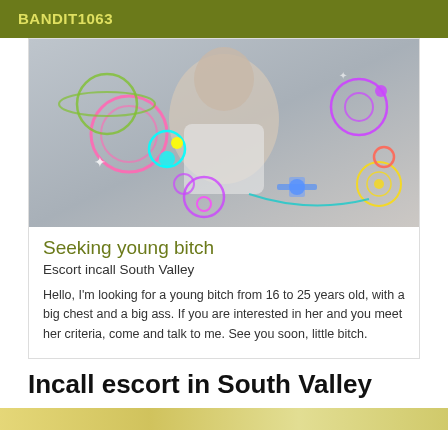BANDIT1063
[Figure (photo): Photo of a person lying down wearing a white jacket, surrounded by colorful neon decorative graphics including circles, planets, and space-themed illustrations overlaid on the image.]
Seeking young bitch
Escort incall South Valley
Hello, I'm looking for a young bitch from 16 to 25 years old, with a big chest and a big ass. If you are interested in her and you meet her criteria, come and talk to me. See you soon, little bitch.
Incall escort in South Valley